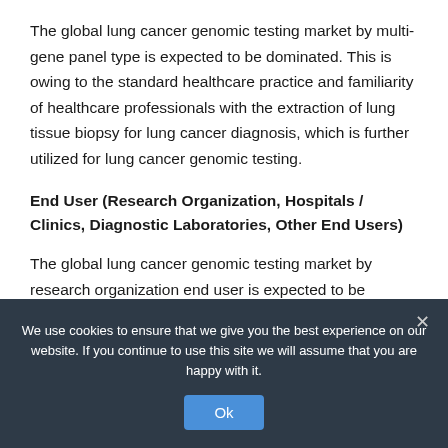The global lung cancer genomic testing market by multi-gene panel type is expected to be dominated. This is owing to the standard healthcare practice and familiarity of healthcare professionals with the extraction of lung tissue biopsy for lung cancer diagnosis, which is further utilized for lung cancer genomic testing.
End User (Research Organization, Hospitals / Clinics, Diagnostic Laboratories, Other End Users)
The global lung cancer genomic testing market by research organization end user is expected to be dominated. This is
We use cookies to ensure that we give you the best experience on our website. If you continue to use this site we will assume that you are happy with it.